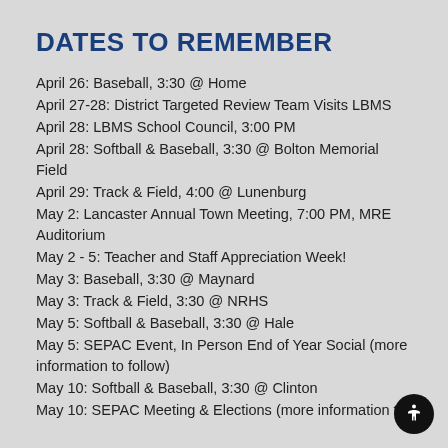DATES TO REMEMBER
April 26: Baseball, 3:30 @ Home
April 27-28: District Targeted Review Team Visits LBMS
April 28: LBMS School Council, 3:00 PM
April 28: Softball & Baseball, 3:30 @ Bolton Memorial Field
April 29: Track & Field, 4:00 @ Lunenburg
May 2: Lancaster Annual Town Meeting, 7:00 PM, MRE Auditorium
May 2 - 5: Teacher and Staff Appreciation Week!
May 3: Baseball, 3:30 @ Maynard
May 3: Track & Field, 3:30 @ NRHS
May 5: Softball & Baseball, 3:30 @ Hale
May 5: SEPAC Event, In Person End of Year Social (more information to follow)
May 10: Softball & Baseball, 3:30 @ Clinton
May 10: SEPAC Meeting & Elections (more information to